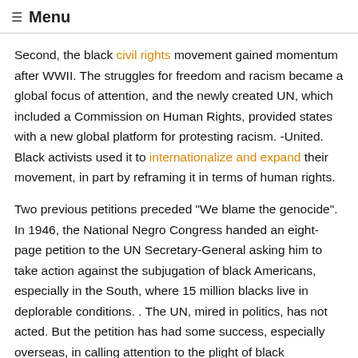☰ Menu
Second, the black civil rights movement gained momentum after WWII. The struggles for freedom and racism became a global focus of attention, and the newly created UN, which included a Commission on Human Rights, provided states with a new global platform for protesting racism. -United. Black activists used it to internationalize and expand their movement, in part by reframing it in terms of human rights.
Two previous petitions preceded "We blame the genocide". In 1946, the National Negro Congress handed an eight-page petition to the UN Secretary-General asking him to take action against the subjugation of black Americans, especially in the South, where 15 million blacks live in deplorable conditions. . The UN, mired in politics, has not acted. But the petition has had some success, especially overseas, in calling attention to the plight of black